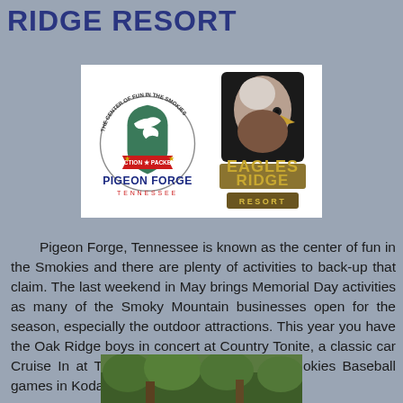RIDGE RESORT
[Figure (logo): Pigeon Forge Tennessee 'The Center of Fun in the Smokies - Action Packed' circular logo with dove and shield, alongside Eagles Ridge Resort logo with bald eagle image]
Pigeon Forge, Tennessee is known as the center of fun in the Smokies and there are plenty of activities to back-up that claim. The last weekend in May brings Memorial Day activities as many of the Smoky Mountain businesses open for the season, especially the outdoor attractions. This year you have the Oak Ridge boys in concert at Country Tonite, a classic car Cruise In at The Diner in Sevierville and Smokies Baseball games in Kodak, right off of I-40.
[Figure (photo): Partial bottom photo of outdoor/nature scene, cropped at page bottom]